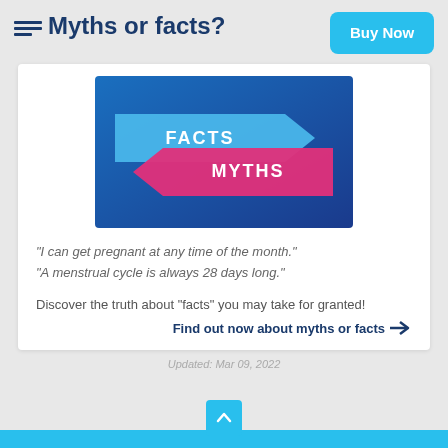Myths or facts?
[Figure (illustration): Blue background image with two opposing arrows: a blue arrow pointing right labeled 'FACTS' and a pink/magenta arrow pointing left labeled 'MYTHS']
"I can get pregnant at any time of the month."
"A menstrual cycle is always 28 days long."
Discover the truth about "facts" you may take for granted!
Find out now about myths or facts →
Updated: Mar 09, 2022